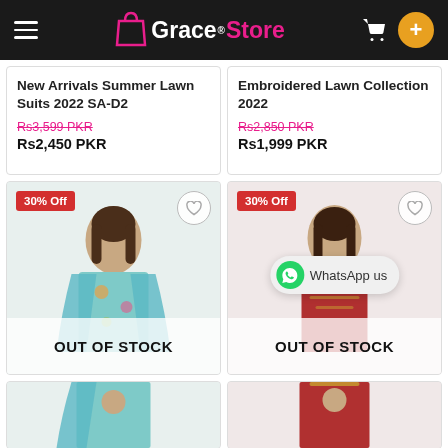[Figure (screenshot): Grace Store e-commerce mobile app header with logo, hamburger menu, cart icon, and plus button]
New Arrivals Summer Lawn Suits 2022 SA-D2
Rs3,599 PKR (original price, strikethrough)
Rs2,450 PKR
Embroidered Lawn Collection 2022
Rs2,850 PKR (original price, strikethrough)
Rs1,999 PKR
[Figure (photo): Woman in teal floral lawn suit, 30% Off badge, heart button, OUT OF STOCK overlay]
[Figure (photo): Woman in red embroidered lawn suit, 30% Off badge, heart button, WhatsApp us bubble, OUT OF STOCK overlay]
[Figure (photo): Partial view of teal floral lawn suit at bottom]
[Figure (photo): Partial view of red embroidered lawn suit at bottom]